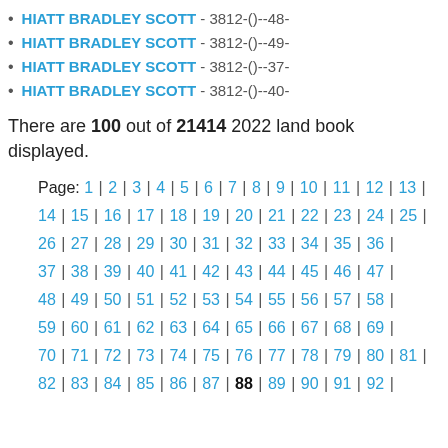HIATT BRADLEY SCOTT - 3812-()--48-
HIATT BRADLEY SCOTT - 3812-()--49-
HIATT BRADLEY SCOTT - 3812-()--37-
HIATT BRADLEY SCOTT - 3812-()--40-
There are 100 out of 21414 2022 land book displayed.
Page: 1 | 2 | 3 | 4 | 5 | 6 | 7 | 8 | 9 | 10 | 11 | 12 | 13 | 14 | 15 | 16 | 17 | 18 | 19 | 20 | 21 | 22 | 23 | 24 | 25 | 26 | 27 | 28 | 29 | 30 | 31 | 32 | 33 | 34 | 35 | 36 | 37 | 38 | 39 | 40 | 41 | 42 | 43 | 44 | 45 | 46 | 47 | 48 | 49 | 50 | 51 | 52 | 53 | 54 | 55 | 56 | 57 | 58 | 59 | 60 | 61 | 62 | 63 | 64 | 65 | 66 | 67 | 68 | 69 | 70 | 71 | 72 | 73 | 74 | 75 | 76 | 77 | 78 | 79 | 80 | 81 | 82 | 83 | 84 | 85 | 86 | 87 | 88 | 89 | 90 | 91 | 92 |